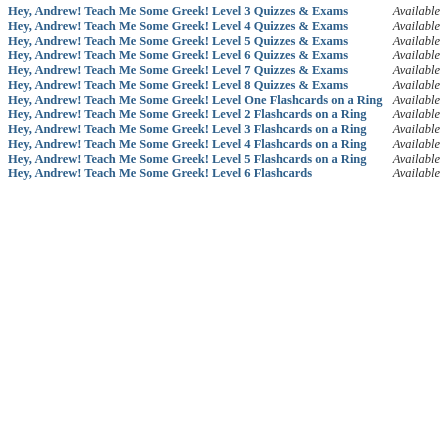Hey, Andrew! Teach Me Some Greek! Level 3 Quizzes & Exams — Available
Hey, Andrew! Teach Me Some Greek! Level 4 Quizzes & Exams — Available
Hey, Andrew! Teach Me Some Greek! Level 5 Quizzes & Exams — Available
Hey, Andrew! Teach Me Some Greek! Level 6 Quizzes & Exams — Available
Hey, Andrew! Teach Me Some Greek! Level 7 Quizzes & Exams — Available
Hey, Andrew! Teach Me Some Greek! Level 8 Quizzes & Exams — Available
Hey, Andrew! Teach Me Some Greek! Level One Flashcards on a Ring — Available
Hey, Andrew! Teach Me Some Greek! Level 2 Flashcards on a Ring — Available
Hey, Andrew! Teach Me Some Greek! Level 3 Flashcards on a Ring — Available
Hey, Andrew! Teach Me Some Greek! Level 4 Flashcards on a Ring — Available
Hey, Andrew! Teach Me Some Greek! Level 5 Flashcards on a Ring — Available
Hey, Andrew! Teach Me Some Greek! Level 6 Flashcards — Available